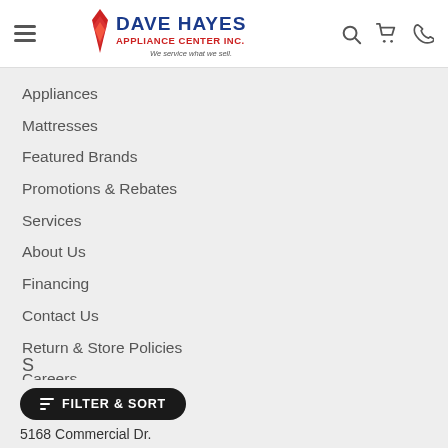[Figure (logo): Dave Hayes Appliance Center Inc. logo with red flame/diamond icon and blue text, tagline 'We service what we sell.']
Appliances
Mattresses
Featured Brands
Promotions & Rebates
Services
About Us
Financing
Contact Us
Return & Store Policies
Careers
FILTER & SORT
5168 Commercial Dr.